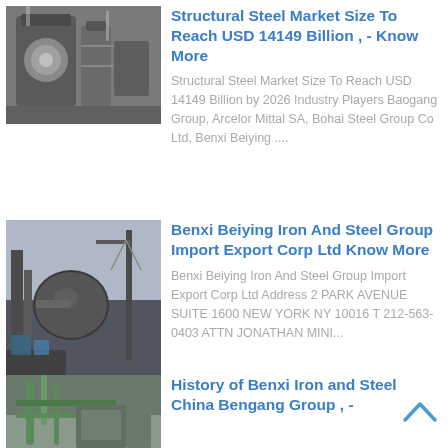[Figure (photo): Industrial machinery, mill or grinder equipment, grayish indoor setting]
Structural Steel Market Size To Reach USD 14149 Billion , - Know More
Structural Steel Market Size To Reach USD 14149 Billion by 2026 Industry Players Baogang Group, Arcelor Mittal SA, Bohai Steel Group Co Ltd, Benxi Beiying ....
[Figure (photo): Industrial steel plant equipment, large spherical vessel and machinery, outdoor industrial setting]
Benxi Beiying Iron And Steel Group Import Export Corp Ltd Know More
Benxi Beiying Iron And Steel Group Import Export Corp Ltd Address 2 PARK AVENUE SUITE 1600 NEW YORK NY 10016 T 212-563-0403 ATTN JONATHAN MINI...
[Figure (photo): Industrial facility interior with pipes and green equipment]
History of Benxi Iron and Steel China Bengang Group , -